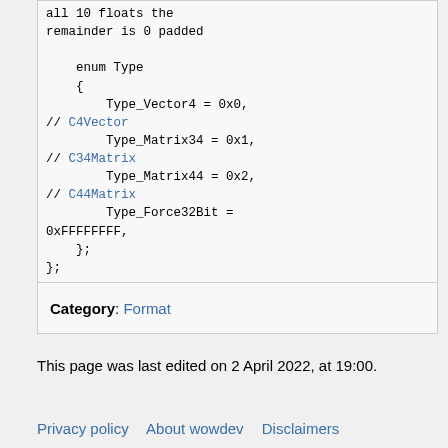all 10 floats the remainder is 0 padded

    enum Type
    {
        Type_Vector4 = 0x0, // C4Vector
        Type_Matrix34 = 0x1, // C34Matrix
        Type_Matrix44 = 0x2, // C44Matrix
        Type_Force32Bit = 0xFFFFFFFF,
    };
};
Category: Format
This page was last edited on 2 April 2022, at 19:00.
Privacy policy   About wowdev   Disclaimers